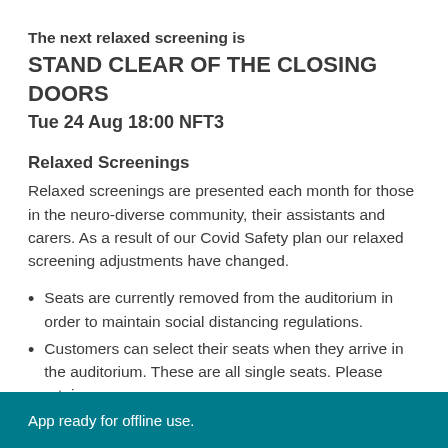The next relaxed screening is
STAND CLEAR OF THE CLOSING DOORS
Tue 24 Aug 18:00 NFT3
Relaxed Screenings
Relaxed screenings are presented each month for those in the neuro-diverse community, their assistants and carers. As a result of our Covid Safety plan our relaxed screening adjustments have changed.
Seats are currently removed from the auditorium in order to maintain social distancing regulations.
Customers can select their seats when they arrive in the auditorium. These are all single seats. Please retain
App ready for offline use.